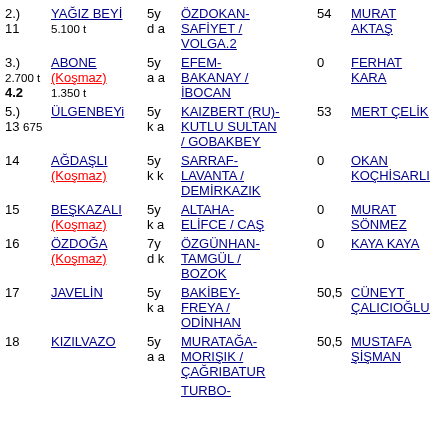| # | Horse | Race | Score | Jockey |
| --- | --- | --- | --- | --- |
| 2.) 11 | YAĞIZ BEYİ | 5y d a | ÖZDOKAN- SAFİYET / VOLGA.2 | 54 | MURAT AKTAŞ |
| 3.) 4.2 | ABONE (Koşmaz) | 5y a a | EFEM- BAKANAY / İBOCAN | 0 | FERHAT KARA |
| 5.) 13 | ÜLGENBEYi | 5y k a | KAIZBERT (RU)- KUTLU SULTAN / GOBAKBEY | 53 | MERT ÇELİK |
| 14 | AĞDAŞLI (Koşmaz) | 5y k k | SARRAF- LAVANTA / DEMİRKAZIK | 0 | OKAN KOÇHİSARLI |
| 15 | BEŞKAZALI (Koşmaz) | 5y k a | ALTAHA- ELİFCE / CAŞ | 0 | MURAT SÖNMEZ |
| 16 | ÖZDOĞA (Koşmaz) | 7y d k | ÖZGÜNHAN- TAMGÜL / BOZOK | 0 | KAYA KAYA |
| 17 | JAVELİN | 5y k a | BAKİBEY- FREYA / ODİNHAN | 50,5 | CÜNEYT ÇALICIOĞLU |
| 18 | KIZILVAZO | 5y a a | MURATAĞA- MORIŞIK / ÇAĞRIBATUR | 50,5 | MUSTAFA ŞİŞMAN |